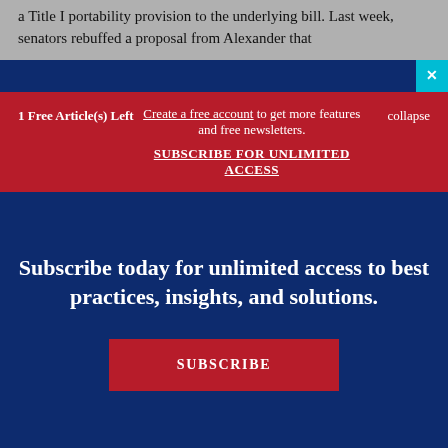a Title I portability provision to the underlying bill. Last week, senators rebuffed a proposal from Alexander that
1 Free Article(s) Left
Create a free account to get more features and free newsletters. SUBSCRIBE FOR UNLIMITED ACCESS
collapse
Subscribe today for unlimited access to best practices, insights, and solutions.
SUBSCRIBE